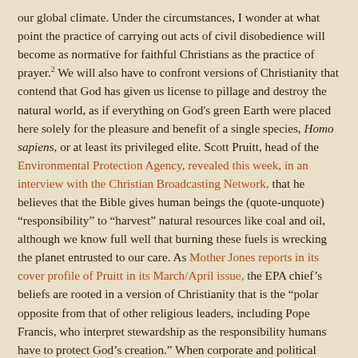our global climate. Under the circumstances, I wonder at what point the practice of carrying out acts of civil disobedience will become as normative for faithful Christians as the practice of prayer.2 We will also have to confront versions of Christianity that contend that God has given us license to pillage and destroy the natural world, as if everything on God's green Earth were placed here solely for the pleasure and benefit of a single species, Homo sapiens, or at least its privileged elite. Scott Pruitt, head of the Environmental Protection Agency, revealed this week, in an interview with the Christian Broadcasting Network, that he believes that the Bible gives human beings the (quote-unquote) “responsibility” to “harvest” natural resources like coal and oil, although we know full well that burning these fuels is wrecking the planet entrusted to our care. As Mother Jones reports in its cover profile of Pruitt in its March/April issue, the EPA chief’s beliefs are rooted in a version of Christianity that is the “polar opposite from that of other religious leaders, including Pope Francis, who interpret stewardship as the responsibility humans have to protect God’s creation.” When corporate and political powers set us on a path of disaster – when they remain hell-bent on locating, extracting, and burning as much coal, gas and oil as they possibly can, never mind the potentially catastrophic effects of what they’re doing – the time has come for us to unleash our faith, to make it visible and make it bold. I give